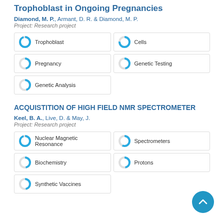Trophoblast in Ongoing Pregnancies
Diamond, M. P., Armant, D. R. & Diamond, M. P.
Project: Research project
Trophoblast
Cells
Pregnancy
Genetic Testing
Genetic Analysis
ACQUISTITION OF HIGH FIELD NMR SPECTROMETER
Keel, B. A., Live, D. & May, J.
Project: Research project
Nuclear Magnetic Resonance
Spectrometers
Biochemistry
Protons
Synthetic Vaccines